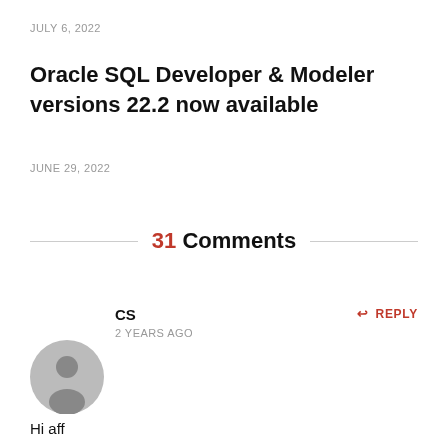JULY 6, 2022
Oracle SQL Developer & Modeler versions 22.2 now available
JUNE 29, 2022
31 Comments
CS
2 YEARS AGO
REPLY
Hi aff